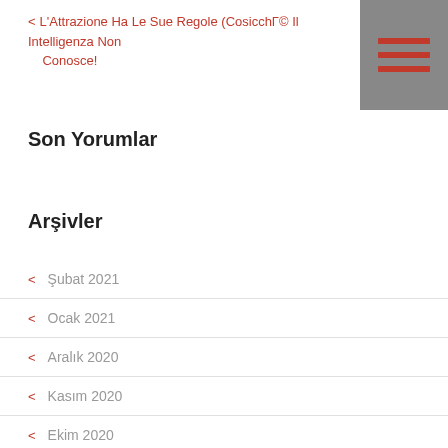< L'Attrazione Ha Le Sue Regole (Cosicché Il Intelligenza Non Conosce!
Son Yorumlar
Arşivler
< Şubat 2021
< Ocak 2021
< Aralık 2020
< Kasım 2020
< Ekim 2020
< Eylül 2020
< Ağustos 2020